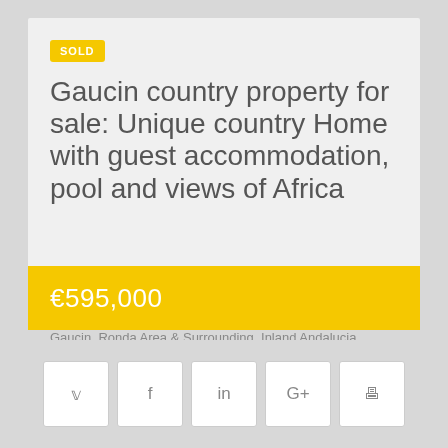Gaucin country property for sale: Unique country Home with guest accommodation, pool and views of Africa
Gaucin, Ronda Area & Surrounding, Inland Andalucia, Inland Malaga, Ronda Area Surrounding Towns
€595,000